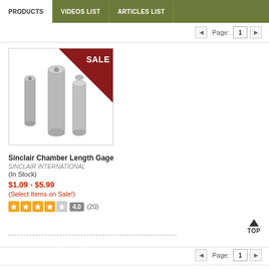PRODUCTS | VIDEOS LIST | ARTICLES LIST
Page: 1
[Figure (photo): Three metallic cylindrical chamber length gage pins of varying sizes, with a red SALE banner in the top-right corner of the image]
Sinclair Chamber Length Gage
SINCLAIR INTERNATIONAL
(In Stock)
$1.09 - $5.99
(Select Items on Sale!)
4.0 (20)
Page: 1